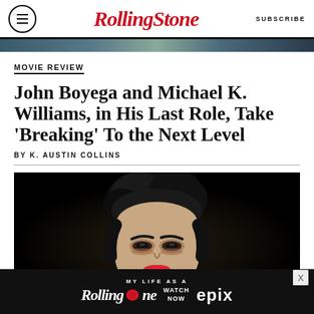RollingStone | SUBSCRIBE
[Figure (photo): Partial top crop of a dark photo, possibly a person or scenery, visible only as a thin strip]
MOVIE REVIEW
John Boyega and Michael K. Williams, in His Last Role, Take ‘Breaking’ To the Next Level
BY K. AUSTIN COLLINS
[Figure (photo): Close-up portrait of a person with dark hair styled upward, dark dramatic background, wearing makeup with red lips]
[Figure (screenshot): Advertisement banner: MY LIFE AS A ROLLING STONE - WATCH NOW EPIX]